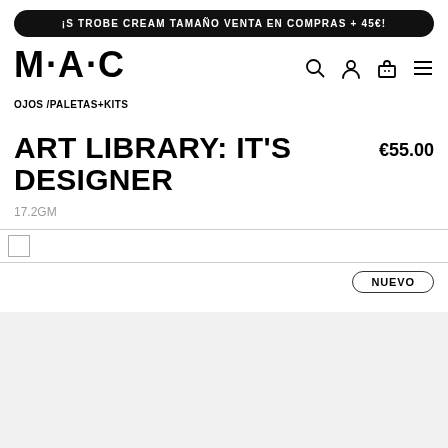¡S TROBE CREAM TAMAÑO VENTA EN COMPRAS + 45€!
[Figure (logo): MAC Cosmetics logo in bold black text]
OJOS /PALETAS+KITS
ART LIBRARY: IT'S DESIGNER
€55.00
17.2GM
NUEVO